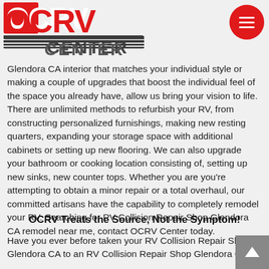OCRV CENTER logo and menu button
Glendora CA interior that matches your individual style or making a couple of upgrades that boost the individual feel of the space you already have, allow us bring your vision to life. There are unlimited methods to refurbish your RV, from constructing personalized furnishings, making new resting quarters, expanding your storage space with additional cabinets or setting up new flooring. We can also upgrade your bathroom or cooking location consisting of, setting up new sinks, new counter tops. Whether you are you're attempting to obtain a minor repair or a total overhaul, our committed artisans have the capability to completely remodel your RV. Searching for RV Collision Repair Shop Glendora CA remodel near me, contact OCRV Center today.
OCRV Treats the Source, Not the Symptom!
Have you ever before taken your RV Collision Repair Shop Glendora CA to an RV Collision Repair Shop Glendora CA